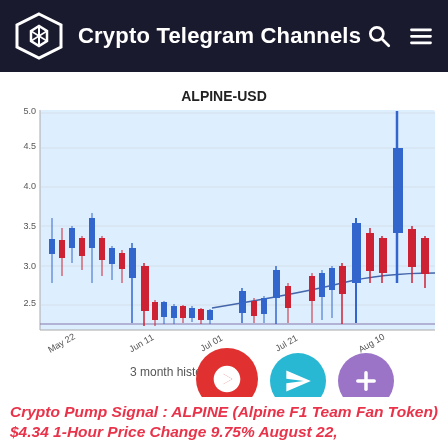Crypto Telegram Channels
ALPINE-USD
[Figure (continuous-plot): ALPINE-USD 3-month candlestick price history chart with blue and red candles showing price range from ~$2.20 to ~$5.00. X-axis shows dates May 22, Jun 11, Jul 01, Jul 21, Aug 10. Y-axis labeled Price with values 2.5, 3.0, 3.5, 4.0, 4.5, 5.0. A curved blue trend line and a horizontal purple support line are overlaid. Significant price spike near Aug 10 reaching ~$5.0.]
3 month history
Crypto Pump Signal : ALPINE (Alpine F1 Team Fan Token) $4.34 1-Hour Price Change 9.75% August 22,